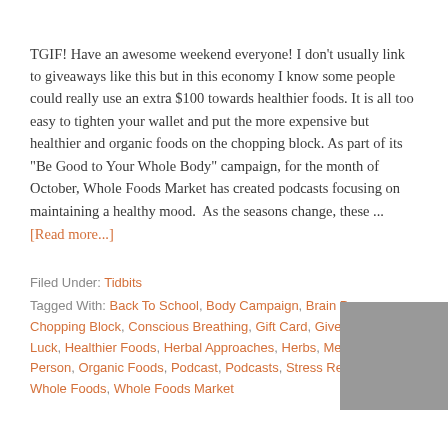TGIF! Have an awesome weekend everyone! I don't usually link to giveaways like this but in this economy I know some people could really use an extra $100 towards healthier foods. It is all too easy to tighten your wallet and put the more expensive but healthier and organic foods on the chopping block. As part of its "Be Good to Your Whole Body" campaign, for the month of October, Whole Foods Market has created podcasts focusing on maintaining a healthy mood.  As the seasons change, these ...
[Read more...]
Filed Under: Tidbits
Tagged With: Back To School, Body Campaign, Brain Power, Chopping Block, Conscious Breathing, Gift Card, Giveaways, Good Luck, Healthier Foods, Herbal Approaches, Herbs, Meditation, One Person, Organic Foods, Podcast, Podcasts, Stress Relief, Wallet, Whole Foods, Whole Foods Market